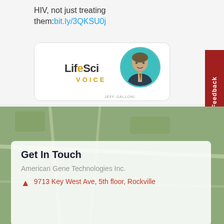HIV, not just treating them: bit.ly/3QKSU0j
[Figure (logo): LifeSci Voice logo with white blob shapes on left and circular portrait photo of Jeff Gallon on right]
JEFF GALLONI
[Figure (screenshot): Feedback tab on right side, dark red background, rotated text 'Feedback' with arrow icon]
[Figure (map): Google Maps view showing street map with overlay text Stewart Town, Montgomery, Village]
Get In Touch
American Gene Technologies Inc.
9713 Key West Ave, 5th floor, Rockville